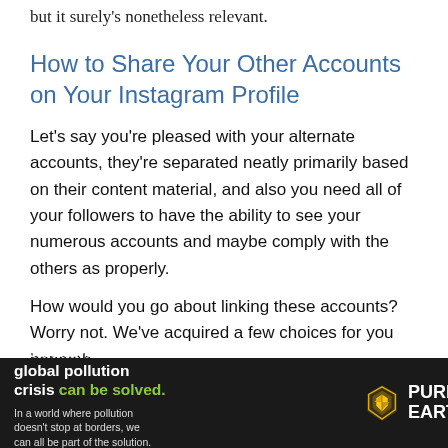but it surely's nonetheless relevant.
How to Share Your Other Accounts on Your Instagram Profile
Let’s say you’re pleased with your alternate accounts, they’re separated neatly primarily based on their content material, and also you need all of your followers to have the ability to see your numerous accounts and maybe comply with the others as properly.
How would you go about linking these accounts? Worry not. We’ve acquired a few choices for you beneath.
f
[Figure (other): Advertisement banner for Pure Earth organization. Dark background with text 'We believe the global pollution crisis can be solved.' on left side, and Pure Earth logo (diamond/arrow icon) with 'PURE EARTH' text on right. Subtext reads 'In a world where pollution doesn’t stop at borders, we can all be part of the solution. JOIN US.']